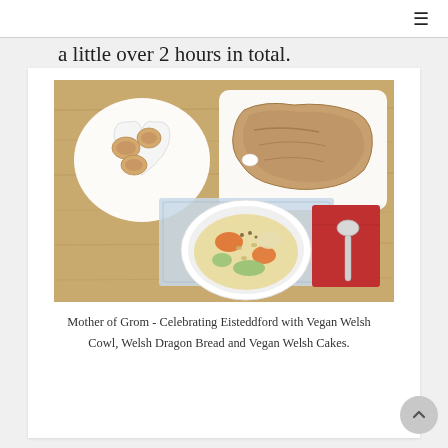≡
a little over 2 hours in total.
[Figure (photo): Overhead view of a wooden table with three food items: a heart-shaped white plate with small heart-shaped Welsh cakes, a rectangular white plate with Welsh Dragon Bread, and a white bowl of Vegan Welsh Cowl (vegetable soup) on a light blue placemat next to a red napkin and spoon.]
Mother of Grom - Celebrating Eisteddford with Vegan Welsh Cowl, Welsh Dragon Bread and Vegan Welsh Cakes.